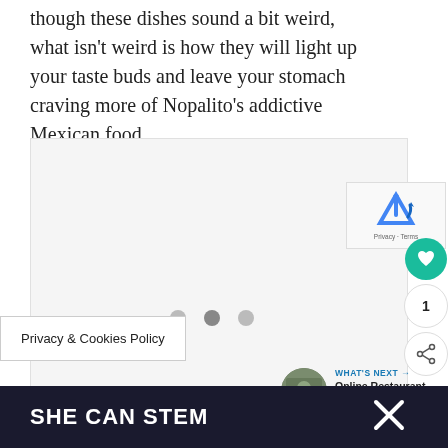though these dishes sound a bit weird, what isn't weird is how they will light up your taste buds and leave your stomach craving more of Nopalito's addictive Mexican food.
[Figure (other): Advertisement placeholder box (light gray rectangle)]
Privacy & Cookies Policy
[Figure (other): reCAPTCHA widget with Privacy and Terms links]
[Figure (other): Heart/favorite button (teal circle with heart icon), count '1', and share button]
[Figure (other): What's Next arrow banner with thumbnail and text: Online Restaurant...]
[Figure (other): SHE CAN STEM dark footer banner with X logo]